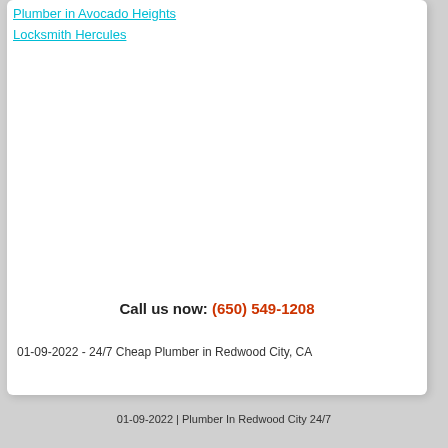Plumber in Avocado Heights
Locksmith Hercules
Call us now: (650) 549-1208
01-09-2022 - 24/7 Cheap Plumber in Redwood City, CA
01-09-2022 | Plumber In Redwood City 24/7